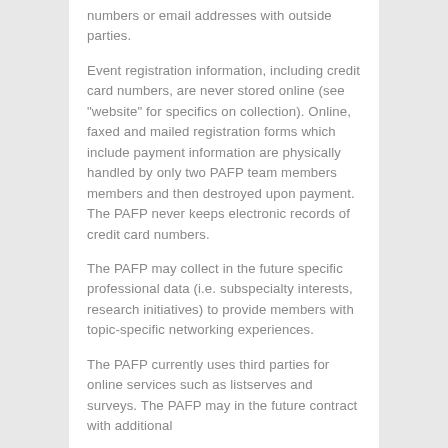numbers or email addresses with outside parties.
Event registration information, including credit card numbers, are never stored online (see "website" for specifics on collection). Online, faxed and mailed registration forms which include payment information are physically handled by only two PAFP team members members and then destroyed upon payment. The PAFP never keeps electronic records of credit card numbers.
The PAFP may collect in the future specific professional data (i.e. subspecialty interests, research initiatives) to provide members with topic-specific networking experiences.
The PAFP currently uses third parties for online services such as listserves and surveys. The PAFP may in the future contract with additional